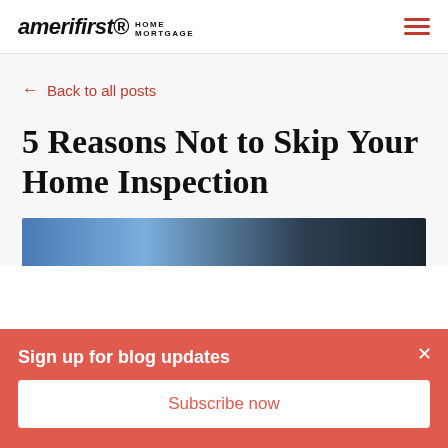amerifirst HOME MORTGAGE
← Back to all posts
5 Reasons Not to Skip Your Home Inspection
[Figure (photo): Partial view of a house photo banner]
Sign up for blog updates
Subscribe now